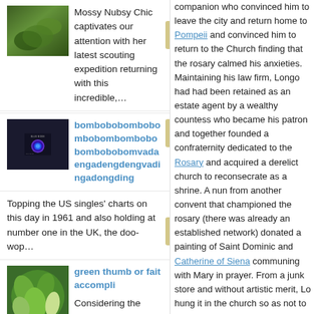Mossy Nubsy Chic captivates our attention with her latest scouting expedition returning with this incredible,...
bombobobombobombobombombobo bombobobomvadaengadengdengvadingadongding
Topping the US singles' charts on this day in 1961 and also holding at number one in the UK, the doo-wop...
green thumb or fait accompli
Considering the jungle of plants that have invaded our house, sometimes I think
companion who convinced him to leave the city and return home to Pompeii and convinced him to return to the Church finding that the rosary calmed his anxieties. Maintaining his law firm, Longo had had been retained as an estate agent by a wealthy countess who became his patron and together founded a confraternity dedicated to the Rosary and acquired a derelict church to reconsecrate as a shrine. A nun from another convent that championed the rosary (there was already an established network) donated a painting of Saint Dominic and Catherine of Siena communing with Mary in prayer. From a junk store and without artistic merit, Lo hung it in the church so as not to insult. Repo painting and brought in pilgrims, eventually en Most Holy Rosary of Pompeii. On the advice o married—though remained chaste for the rest and dedicating themselves to charitable cause give this couple? I suspect they, along with th worshippers all along, in fear of being persect
Tweet